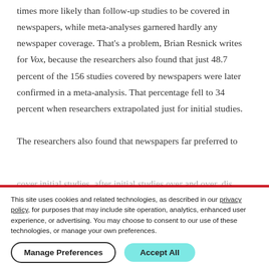times more likely than follow-up studies to be covered in newspapers, while meta-analyses garnered hardly any newspaper coverage. That's a problem, Brian Resnick writes for Vox, because the researchers also found that just 48.7 percent of the 156 studies covered by newspapers were later confirmed in a meta-analysis. That percentage fell to 34 percent when researchers extrapolated just for initial studies.
The researchers also found that newspapers far preferred to
This site uses cookies and related technologies, as described in our privacy policy, for purposes that may include site operation, analytics, enhanced user experience, or advertising. You may choose to consent to our use of these technologies, or manage your own preferences.